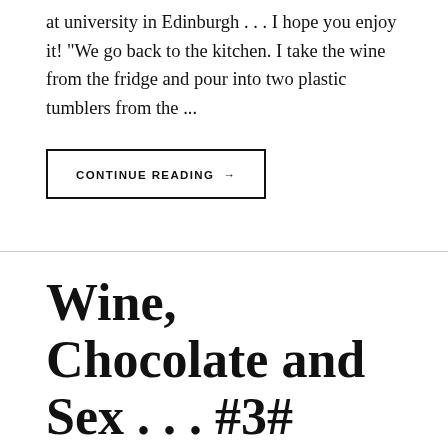at university in Edinburgh . . . I hope you enjoy it! "We go back to the kitchen. I take the wine from the fridge and pour into two plastic tumblers from the ...
CONTINUE READING →
Wine, Chocolate and Sex . . . #3#
ON APRIL 21, 2021 / BY ANDREW G LOCKHART